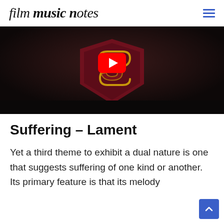film music notes
[Figure (screenshot): YouTube video thumbnail showing the Superman logo (Man of Steel) with a red YouTube play button overlay, dark background]
Suffering – Lament
Yet a third theme to exhibit a dual nature is one that suggests suffering of one kind or another. Its primary feature is that its melody